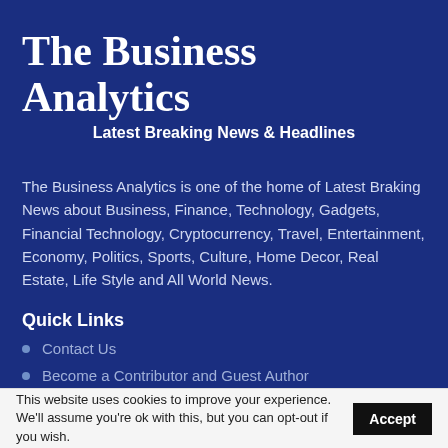The Business Analytics
Latest Breaking News & Headlines
The Business Analytics is one of the home of Latest Braking News about Business, Finance, Technology, Gadgets, Financial Technology, Cryptocurrency, Travel, Entertainment, Economy, Politics, Sports, Culture, Home Decor, Real Estate, Life Style and All World News.
Quick Links
Contact Us
Become a Contributor and Guest Author
Privacy Policy
This website uses cookies to improve your experience. We'll assume you're ok with this, but you can opt-out if you wish. Accept